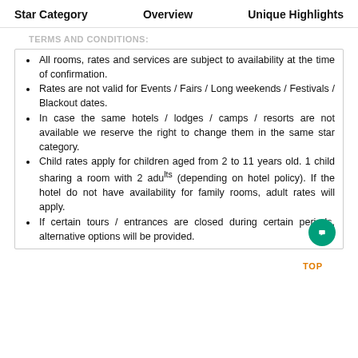Star Category   Overview   Unique Highlights
TERMS AND CONDITIONS:
All rooms, rates and services are subject to availability at the time of confirmation.
Rates are not valid for Events / Fairs / Long weekends / Festivals / Blackout dates.
In case the same hotels / lodges / camps / resorts are not available we reserve the right to change them in the same star category.
Child rates apply for children aged from 2 to 11 years old. 1 child sharing a room with 2 adults (depending on hotel policy). If the hotel do not have availability for family rooms, adult rates will apply.
If certain tours / entrances are closed during certain periods, alternative options will be provided.